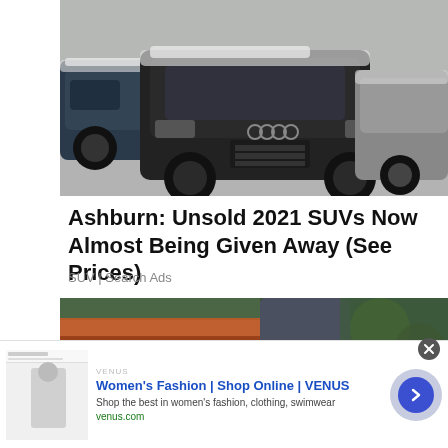[Figure (photo): Multiple SUVs covered in snow/dust in a parking lot, with a dark Audi Q7 prominently in front center, other SUVs on left and right sides]
Ashburn: Unsold 2021 SUVs Now Almost Being Given Away (See Prices)
SUV | Search Ads
[Figure (photo): Person in blue-grey sweater working on roof gutters/tiles with orange/terracotta roof tiles visible and green trees in background]
[Figure (screenshot): Advertisement banner for Women's Fashion | Shop Online | VENUS with thumbnail image, blue arrow button, close button]